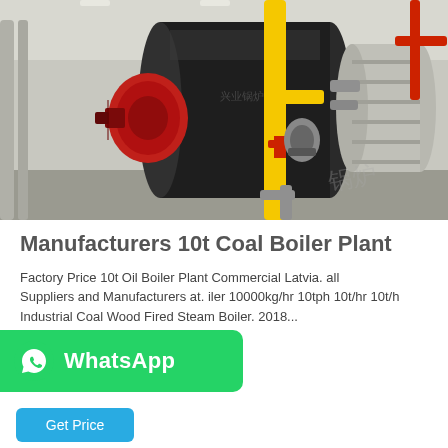[Figure (photo): Industrial boiler plant with a large cylindrical black boiler body fitted with a red burner assembly on the left, yellow and red gas pipes in the center, and insulated cylindrical vessels on the right, inside an industrial facility.]
Manufacturers 10t Coal Boiler Plant
Factory Price 10t Oil Boiler Plant Commercial Latvia. all Suppliers and Manufacturers at. iler 10000kg/hr 10tph 10t/hr 10t/h Industrial Coal Wood Fired Steam Boiler. 2018...